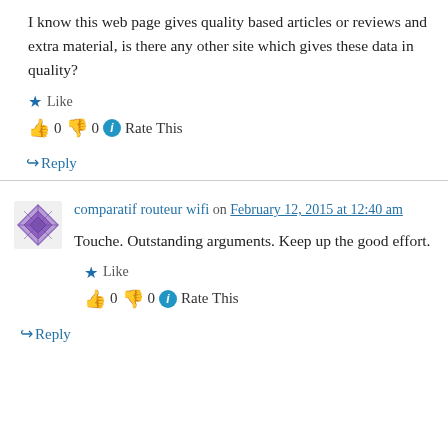I know this web page gives quality based articles or reviews and extra material, is there any other site which gives these data in quality?
Like
👍 0 👎 0 ℹ Rate This
↪ Reply
comparatif routeur wifi on February 12, 2015 at 12:40 am
Touche. Outstanding arguments. Keep up the good effort.
Like
👍 0 👎 0 ℹ Rate This
↪ Reply